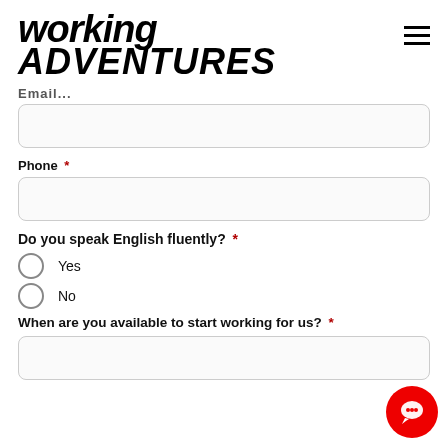working ADVENTURES
Email
Phone *
Do you speak English fluently? *
Yes
No
When are you available to start working for us? *